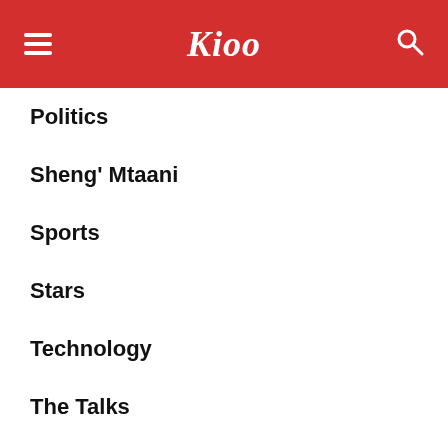Kioo
Politics
Sheng' Mtaani
Sports
Stars
Technology
The Talks
Top 30 Kenyans
Videos